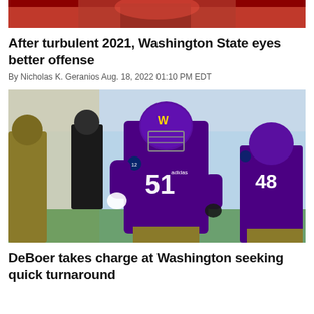[Figure (photo): Top portion of a photo showing a football player in a red/crimson uniform, cropped at the top of the page]
After turbulent 2021, Washington State eyes better offense
By Nicholas K. Geranios Aug. 18, 2022 01:10 PM EDT
[Figure (photo): University of Washington football player wearing purple jersey number 51, running on the field during a game. Another player wearing number 48 is visible in the background.]
DeBoer takes charge at Washington seeking quick turnaround